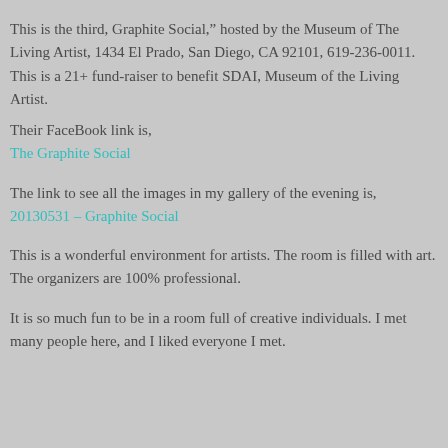This is the third, Graphite Social," hosted by the Museum of The Living Artist, 1434 El Prado, San Diego, CA 92101, 619-236-0011. This is a 21+ fund-raiser to benefit SDAI, Museum of the Living Artist.
Their FaceBook link is,
The Graphite Social
The link to see all the images in my gallery of the evening is,
20130531 – Graphite Social
This is a wonderful environment for artists. The room is filled with art. The organizers are 100% professional.
It is so much fun to be in a room full of creative individuals. I met many people here, and I liked everyone I met.